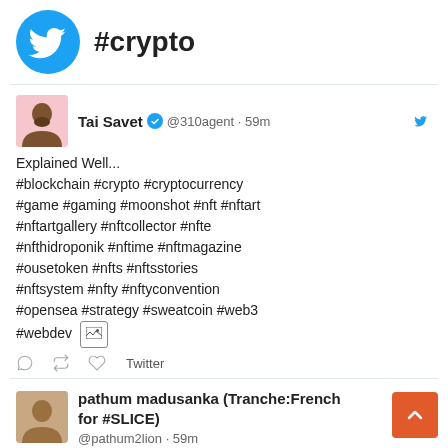#crypto
Tai Savet @310agent · 59m
Explained Well...
#blockchain #crypto #cryptocurrency #game #gaming #moonshot #nft #nftart #nftartgallery #nftcollector #nfte #nfthidroponik #nftime #nftmagazine #ousetoken #nfts #nftsstories #nftsystem #nfty #nftyconvention #opensea #strategy #sweatcoin #web3 #webdev
pathum madusanka (Tranche:French for #SLICE)
@pathum2lion · 59m